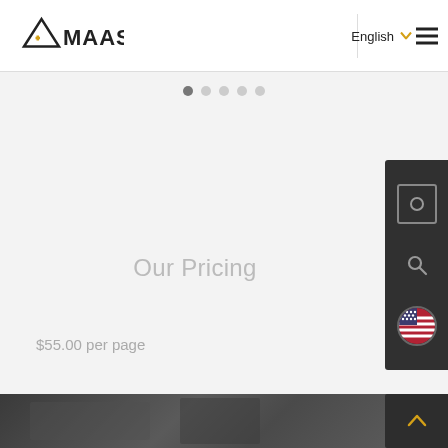MAAS — English
[Figure (screenshot): Carousel dot navigation indicators (5 dots, first active)]
Our Pricing
$55.00 per page
[Figure (screenshot): Dark sidebar panel with brightness icon, search icon, and US flag icon]
[Figure (photo): Dark background image strip at the bottom of the page with a scroll-to-top arrow button]